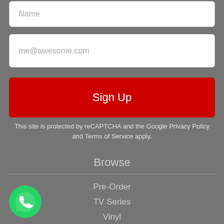Name
me@awesome.com
Sign Up
This site is protected by reCAPTCHA and the Google Privacy Policy and Terms of Service apply.
Browse
Pre-Order
TV Series
Vinyl
Movies
In Stock
Top 10
[Figure (logo): WhatsApp green circle logo with phone handset icon]